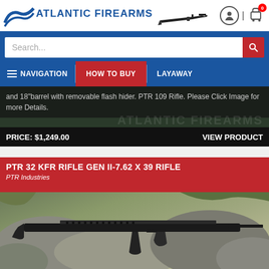[Figure (screenshot): Atlantic Firearms website header with logo, user icon, cart icon with badge 0]
[Figure (screenshot): Blue search bar with search input field and red search button]
[Figure (screenshot): Navigation bar with hamburger NAVIGATION, HOW TO BUY (red/active), LAYAWAY]
and 18" barrel with removable flash hider. PTR 109 Rifle. Please Click Image for more Details.
PRICE: $1,249.00
VIEW PRODUCT
PTR 32 KFR RIFLE GEN II-7.62 X 39 RIFLE
PTR Industries
[Figure (photo): PTR 32 KFR rifle resting on rocks outdoors, black semi-automatic rifle with AK-style magazine]